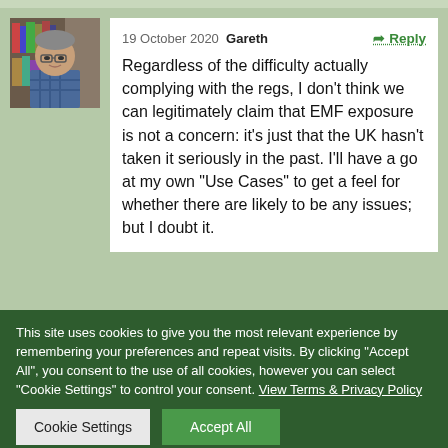19 October 2020  Gareth
Regardless of the difficulty actually complying with the regs, I don't think we can legitimately claim that EMF exposure is not a concern: it's just that the UK hasn't taken it seriously in the past. I'll have a go at my own "Use Cases" to get a feel for whether there are likely to be any issues; but I doubt it.
This site uses cookies to give you the most relevant experience by remembering your preferences and repeat visits. By clicking "Accept All", you consent to the use of all cookies, however you can select "Cookie Settings" to control your consent. View Terms & Privacy Policy